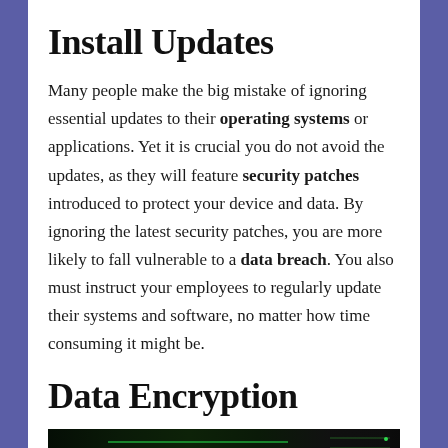Install Updates
Many people make the big mistake of ignoring essential updates to their operating systems or applications. Yet it is crucial you do not avoid the updates, as they will feature security patches introduced to protect your device and data. By ignoring the latest security patches, you are more likely to fall vulnerable to a data breach. You also must instruct your employees to regularly update their systems and software, no matter how time consuming it might be.
Data Encryption
[Figure (photo): Dark server room / data center with green LED lighting, showing server racks]